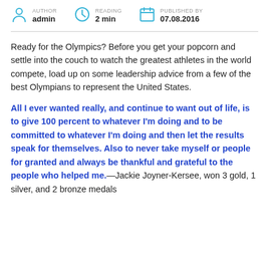AUTHOR: admin | READING: 2 min | PUBLISHED BY: 07.08.2016
Ready for the Olympics? Before you get your popcorn and settle into the couch to watch the greatest athletes in the world compete, load up on some leadership advice from a few of the best Olympians to represent the United States.
All I ever wanted really, and continue to want out of life, is to give 100 percent to whatever I'm doing and to be committed to whatever I'm doing and then let the results speak for themselves. Also to never take myself or people for granted and always be thankful and grateful to the people who helped me.—Jackie Joyner-Kersee, won 3 gold, 1 silver, and 2 bronze medals